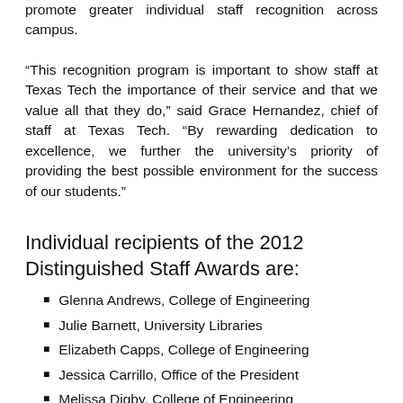promote greater individual staff recognition across campus.
“This recognition program is important to show staff at Texas Tech the importance of their service and that we value all that they do,” said Grace Hernandez, chief of staff at Texas Tech. “By rewarding dedication to excellence, we further the university’s priority of providing the best possible environment for the success of our students.”
Individual recipients of the 2012 Distinguished Staff Awards are:
Glenna Andrews, College of Engineering
Julie Barnett, University Libraries
Elizabeth Capps, College of Engineering
Jessica Carrillo, Office of the President
Melissa Digby, College of Engineering
Julie Farley, College of Engineering
Catherine Forrest, College of Arts & Sciences